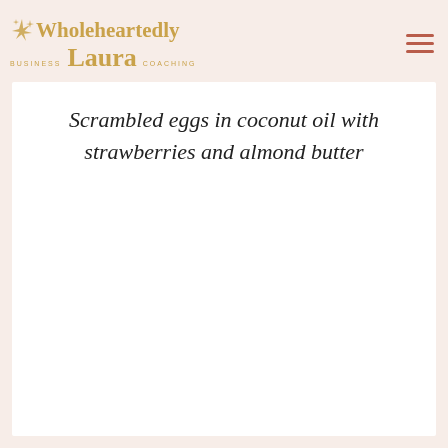[Figure (logo): Wholeheartedly Laura Business Coaching logo with gold sparkle stars and text]
Scrambled eggs in coconut oil with strawberries and almond butter